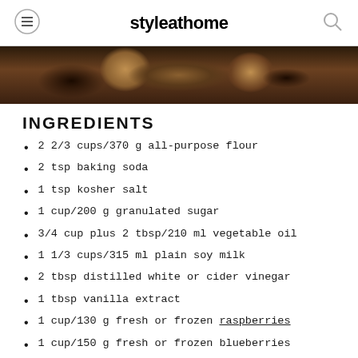styleathome
[Figure (photo): Close-up photo of baked muffins or pastries with dark berries, dusted with powdered sugar, in metal tins]
INGREDIENTS
2 2/3 cups/370 g all-purpose flour
2 tsp baking soda
1 tsp kosher salt
1 cup/200 g granulated sugar
3/4 cup plus 2 tbsp/210 ml vegetable oil
1 1/3 cups/315 ml plain soy milk
2 tbsp distilled white or cider vinegar
1 tbsp vanilla extract
1 cup/130 g fresh or frozen raspberries
1 cup/150 g fresh or frozen blueberries